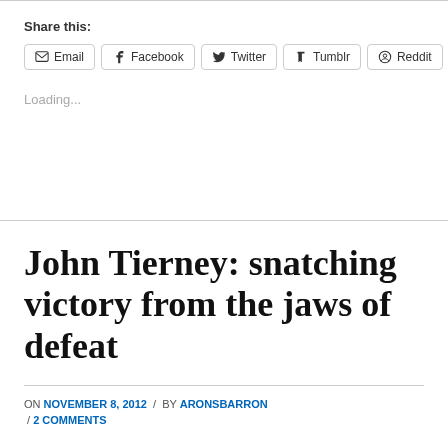Share this:
Email  Facebook  Twitter  Tumblr  Reddit
Loading...
John Tierney: snatching victory from the jaws of defeat
ON NOVEMBER 8, 2012 / BY ARONSBARRON / 2 COMMENTS